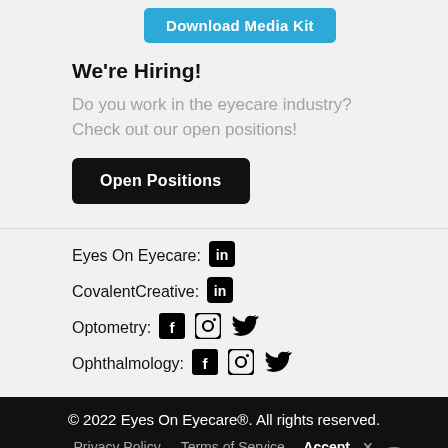[Figure (other): Download Media Kit blue button]
We're Hiring!
Do you work in the eyecare industry? Check out our open positions!
[Figure (other): Open Positions black button]
Eyes On Eyecare: [LinkedIn icon]
CovalentCreative: [LinkedIn icon]
Optometry: [Facebook icon] [Instagram icon] [Twitter icon]
Ophthalmology: [Facebook icon] [Instagram icon] [Twitter icon]
© 2022 Eyes On Eyecare®. All rights reserved.
Privacy Policy   Terms of Service
Your browser settings do not allow cross-site tracking for advertising. Click on this to allow AdRoll to use cross-site tracking to tailor ads to you. Learn more or opt out of this AdRoll tracking by clicking here. This message only appears once.